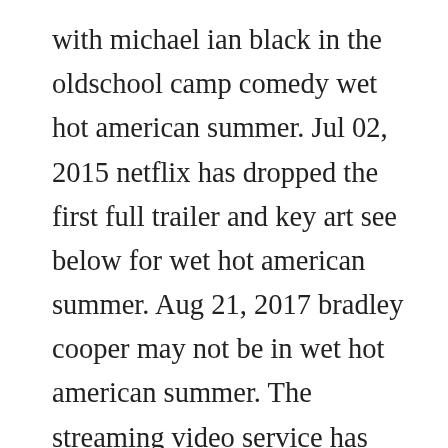with michael ian black in the oldschool camp comedy wet hot american summer. Jul 02, 2015 netflix has dropped the first full trailer and key art see below for wet hot american summer. Aug 21, 2017 bradley cooper may not be in wet hot american summer. The streaming video service has released a first real look at the 8episode comedy wet hot american summer. The film features an ensemble cast, including janeane garofalo, david hyde pierce, molly shannon, paul rudd, christopher meloni, michael showalter and